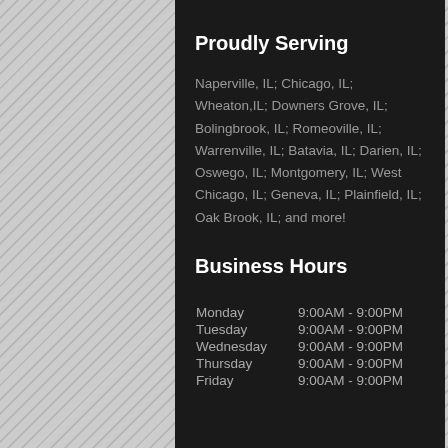Proudly Serving
Naperville, IL; Chicago, IL; Wheaton,IL; Downers Grove, IL; Bolingbrook, IL; Romeoville, IL; Warrenville, IL; Batavia, IL; Darien, IL; Oswego, IL; Montgomery, IL; West Chicago, IL; Geneva, IL; Plainfield, IL; Oak Brook, IL; and more!
Business Hours
| Day | Hours |
| --- | --- |
| Monday | 9:00AM - 9:00PM |
| Tuesday | 9:00AM - 9:00PM |
| Wednesday | 9:00AM - 9:00PM |
| Thursday | 9:00AM - 9:00PM |
| Friday | 9:00AM - 9:00PM |